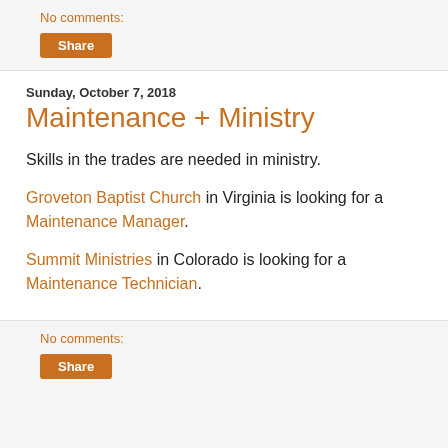No comments:
Share
Sunday, October 7, 2018
Maintenance + Ministry
Skills in the trades are needed in ministry.
Groveton Baptist Church in Virginia is looking for a Maintenance Manager.
Summit Ministries in Colorado is looking for a Maintenance Technician.
No comments:
Share